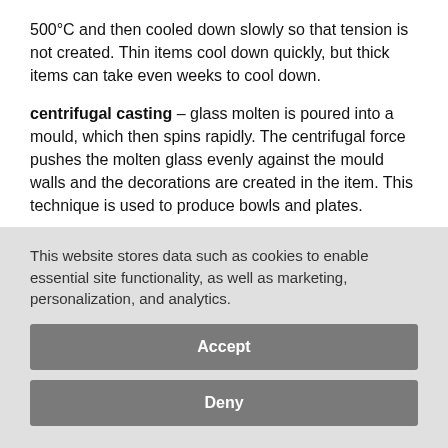500°C and then cooled down slowly so that tension is not created. Thin items cool down quickly, but thick items can take even weeks to cool down.
centrifugal casting – glass molten is poured into a mould, which then spins rapidly. The centrifugal force pushes the molten glass evenly against the mould walls and the decorations are created in the item. This technique is used to produce bowls and plates.
three-phase glass – glass molten is added with a spike to a mould-blown glass item. Stem of the glass is made...
This website stores data such as cookies to enable essential site functionality, as well as marketing, personalization, and analytics.
Accept
Deny